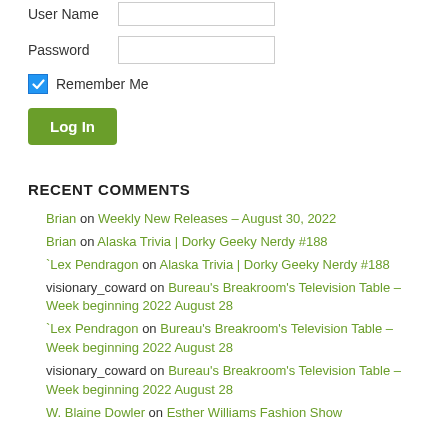User Name [input field]
Password [input field]
☑ Remember Me
Log In
RECENT COMMENTS
Brian on Weekly New Releases – August 30, 2022
Brian on Alaska Trivia | Dorky Geeky Nerdy #188
`Lex Pendragon on Alaska Trivia | Dorky Geeky Nerdy #188
visionary_coward on Bureau's Breakroom's Television Table – Week beginning 2022 August 28
`Lex Pendragon on Bureau's Breakroom's Television Table – Week beginning 2022 August 28
visionary_coward on Bureau's Breakroom's Television Table – Week beginning 2022 August 28
W. Blaine Dowler on Esther Williams Fashion Show